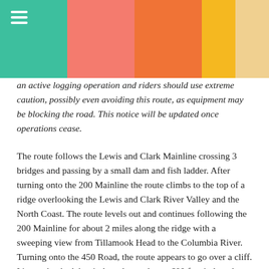[colored header bar with menu icon]
an active logging operation and riders should use extreme caution, possibly even avoiding this route, as equipment may be blocking the road. This notice will be updated once operations cease.
The route follows the Lewis and Clark Mainline crossing 3 bridges and passing by a small dam and fish ladder. After turning onto the 200 Mainline the route climbs to the top of a ridge overlooking the Lewis and Clark River Valley and the North Coast. The route levels out and continues following the 200 Mainline for about 2 miles along the ridge with a sweeping view from Tillamook Head to the Columbia River. Turning onto the 450 Road, the route appears to go over a cliff. It's not that bad, but it does descend over 600 feet in less than a mile with the steepest part just below the 200 Mainline. Following the 400 Mainline for about 2.5 miles, the route crosses a bridge over a small creek and passes by an interesting cave before reaching the Lewis and Clark River. After crossing the Lewis and